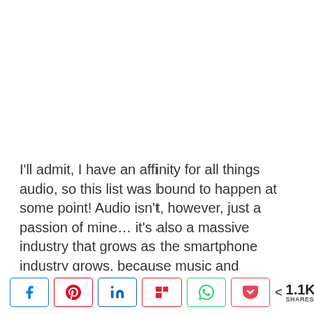I'll admit, I have an affinity for all things audio, so this list was bound to happen at some point! Audio isn't, however, just a passion of mine... it's also a massive industry that grows as the smartphone industry grows, because music and entertainment play a major role in the smartphone experience. We've seen a lot of growth in the truly-wireless audio wearable department (I even got my hands on the TicPods featured below... review pending) as well
[Figure (other): Social share bar with Facebook, Pinterest, LinkedIn, Flipboard, WhatsApp, and Pocket buttons, plus a share count of 1.1K SHARES]